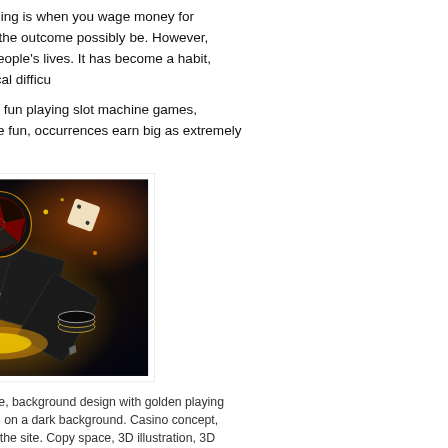you have gambled. Gambling is when you wage money for something e exactly what the outcome possibly be. However, gambling it seems to be people's lives. It has become a habit, worse, even a psychological difficu
For beginners who aim for fun playing slot machine games, selecting fre Apart from the fun, occurrences earn big as extremely well.
[Figure (photo): Creative poker template showing golden playing cards fanned out, poker chips, dice, and a roulette wheel on a dark background with glowing golden light effects. Casino concept, 3D illustration render.]
Creative poker template, background design with golden playing cards and poker chips on a dark background. Casino concept, gambling, header for the site. Copy space, 3D illustration, 3D render
While roulette can be said to be a simple game, slot machines don't eve task as elaborate as regarding the previously described Gambling sport. down in front of one and insert a coin or however much the Gambling...